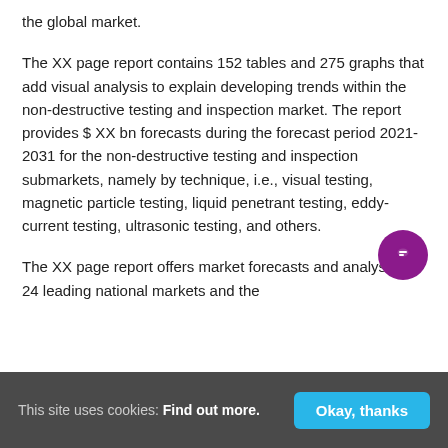the global market.
The XX page report contains 152 tables and 275 graphs that add visual analysis to explain developing trends within the non-destructive testing and inspection market. The report provides $ XX bn forecasts during the forecast period 2021-2031 for the non-destructive testing and inspection submarkets, namely by technique, i.e., visual testing, magnetic particle testing, liquid penetrant testing, eddy-current testing, ultrasonic testing, and others.
The XX page report offers market forecasts and analysis for 24 leading national markets and the
This site uses cookies: Find out more.   Okay, thanks